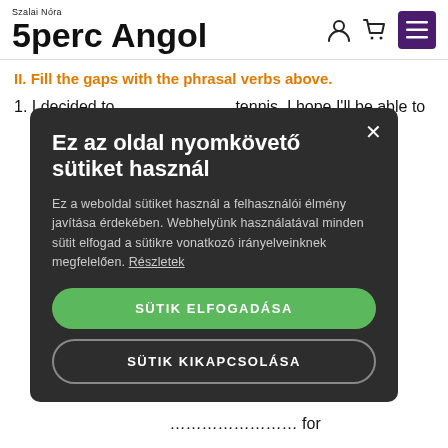Szalai Nóra 5perc Angol
II. Fill the gaps with the phrasal verbs above.
1. I decided to ………………… tennis. I hope I'll be able to
Ez az oldal nyomkövető sütiket használ

Ez a weboldal sütiket használ a felhasználói élmény javítása érdekében. Webhelyünk használatával minden sütit elfogad a sütikre vonatkozó irányelveinknek megfelelően. Részletek

SÜTIK ELFOGADÁSA
SÜTIK KIKAPCSOLÁSA